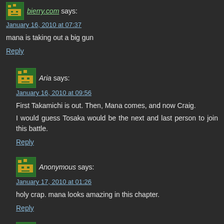bierry.com says:
January 16, 2010 at 07:37
mana is taking out a big gun
Reply
[Figure (illustration): Green pixel art avatar icon for user Aria]
Aria says:
January 16, 2010 at 09:56
First Takamichi is out. Then, Mana comes, and now Craig.
I would guess Tosaka would be the next and last person to join this battle.
Reply
[Figure (illustration): Green pixel art avatar icon for Anonymous user]
Anonymous says:
January 17, 2010 at 01:26
holy crap. mana looks amazing in this chapter.
Reply
[Figure (illustration): Green pixel art avatar icon partially visible at bottom]